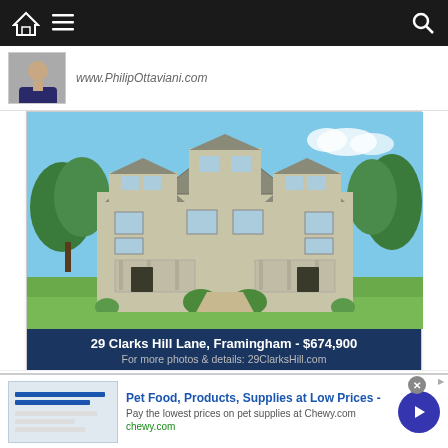Navigation bar with home icon, menu icon, and search icon
www.PhilipOttaviani.com
[Figure (photo): Exterior photo of a two-unit residential property at 29 Clarks Hill Lane, Framingham. Grey-beige siding, three gabled dormers, covered porches, landscaped front yard, blue sky background.]
29 Clarks Hill Lane, Framingham - $674,900
For more photos & details: 29ClarksHill.com
Last    1 of 5    Next
"Making Deals Happen &
Pet Food, Products, Supplies at Low Prices -
Pay the lowest prices on pet supplies at Chewy.com
chewy.com